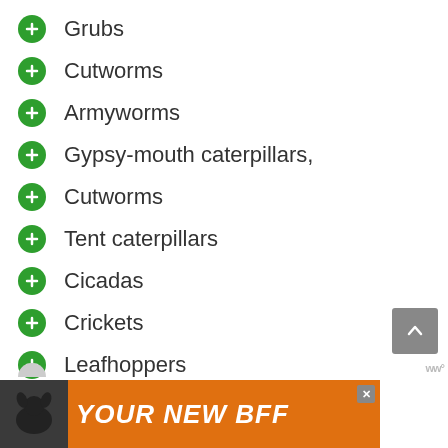Grubs
Cutworms
Armyworms
Gypsy-mouth caterpillars,
Cutworms
Tent caterpillars
Cicadas
Crickets
Leafhoppers
Wasps
Treehoppers
Bees
Snakes
Lizards
[Figure (screenshot): Advertisement banner: orange background with dog image and text YOUR NEW BFF]